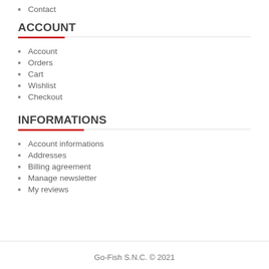Contact
ACCOUNT
Account
Orders
Cart
Wishlist
Checkout
INFORMATIONS
Account informations
Addresses
Billing agreement
Manage newsletter
My reviews
Go-Fish S.N.C. © 2021